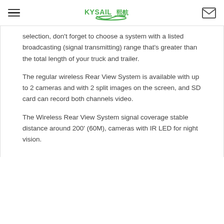KYSAIL 熙航 [logo] [hamburger menu] [mail icon]
selection, don't forget to choose a system with a listed broadcasting (signal transmitting) range that's greater than the total length of your truck and trailer.
The regular wireless Rear View System is available with up to 2 cameras and with 2 split images on the screen, and SD card can record both channels video.
The Wireless Rear View System signal coverage stable distance around 200' (60M), cameras with IR LED for night vision.